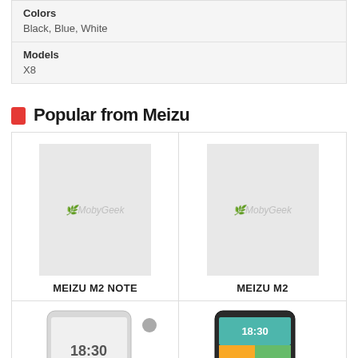| Property | Value |
| --- | --- |
| Colors | Black, Blue, White |
| Models | X8 |
Popular from Meizu
[Figure (photo): Meizu M2 Note product placeholder image with MobyGeek watermark]
MEIZU M2 NOTE
[Figure (photo): Meizu M2 product placeholder image with MobyGeek watermark]
MEIZU M2
[Figure (photo): Meizu phone render showing screen with 18:30 time]
[Figure (photo): Meizu phone render showing colorful screen with 18:30 time]